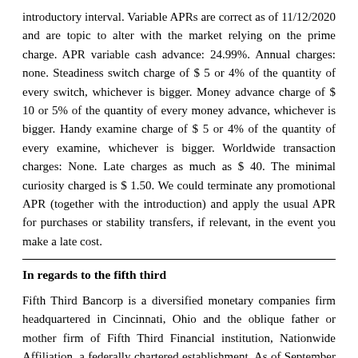introductory interval. Variable APRs are correct as of 11/12/2020 and are topic to alter with the market relying on the prime charge. APR variable cash advance: 24.99%. Annual charges: none. Steadiness switch charge of $ 5 or 4% of the quantity of every switch, whichever is bigger. Money advance charge of $ 10 or 5% of the quantity of every money advance, whichever is bigger. Handy examine charge of $ 5 or 4% of the quantity of every examine, whichever is bigger. Worldwide transaction charges: None. Late charges as much as $ 40. The minimal curiosity charged is $ 1.50. We could terminate any promotional APR (together with the introduction) and apply the usual APR for purchases or stability transfers, if relevant, in the event you make a late cost.
In regards to the fifth third
Fifth Third Bancorp is a diversified monetary companies firm headquartered in Cincinnati, Ohio and the oblique father or mother firm of Fifth Third Financial institution, Nationwide Affiliation, a federally chartered establishment. As of September 30, 2020, Fifth Third had $ 202 billion in belongings and